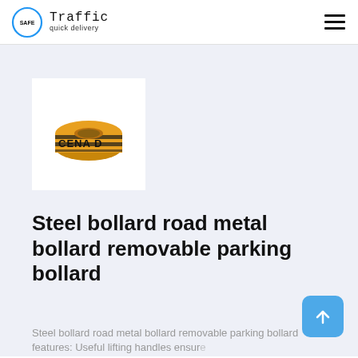Safe Traffic — quick delivery
[Figure (photo): A roll of yellow caution/barrier tape with black text reading 'CENA D' visible on the roll, shown on a white background.]
Steel bollard road metal bollard removable parking bollard
Steel bollard road metal bollard removable parking bollard features: Useful lifting handles ensure